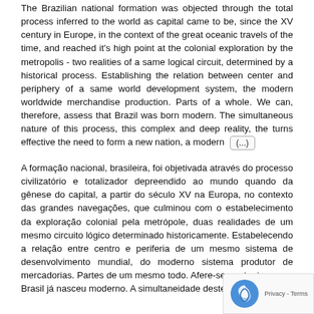The Brazilian national formation was objected through the total process inferred to the world as capital came to be, since the XV century in Europe, in the context of the great oceanic travels of the time, and reached it's high point at the colonial exploration by the metropolis - two realities of a same logical circuit, determined by a historical process. Establishing the relation between center and periphery of a same world development system, the modern worldwide merchandise production. Parts of a whole. We can, therefore, assess that Brazil was born modern. The simultaneous nature of this process, this complex and deep reality, the turns effective the need to form a new nation, a modern (...)
A formação nacional, brasileira, foi objetivada através do processo civilizatório e totalizador depreendido ao mundo quando da gênese do capital, a partir do século XV na Europa, no contexto das grandes navegações, que culminou com o estabelecimento da exploração colonial pela metrópole, duas realidades de um mesmo circuito lógico determinado historicamente. Estabelecendo a relação entre centro e periferia de um mesmo sistema de desenvolvimento mundial, do moderno sistema produtor de mercadorias. Partes de um mesmo todo. Afere-se, portanto, que o Brasil já nasceu moderno. A simultaneidade deste processo, de